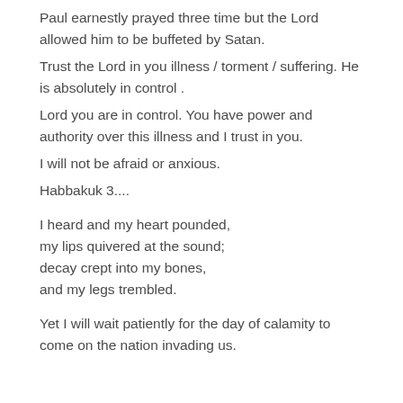Paul earnestly prayed three time but the Lord allowed him to be buffeted by Satan.
Trust the Lord in you illness / torment / suffering. He is absolutely in control .
Lord you are in control. You have power and authority over this illness and I trust in you.
I will not be afraid or anxious.
Habbakuk 3....
I heard and my heart pounded,
my lips quivered at the sound;
decay crept into my bones,
and my legs trembled.
Yet I will wait patiently for the day of calamity to come on the nation invading us.